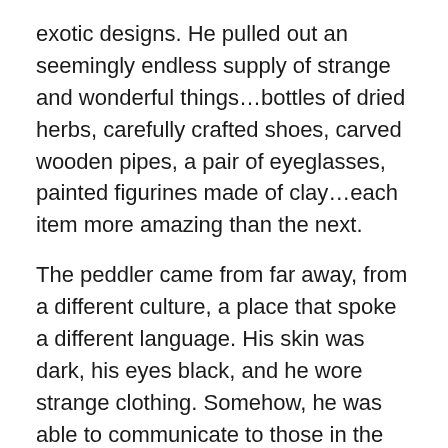exotic designs. He pulled out an seemingly endless supply of strange and wonderful things…bottles of dried herbs, carefully crafted shoes, carved wooden pipes, a pair of eyeglasses, painted figurines made of clay…each item more amazing than the next.
The peddler came from far away, from a different culture, a place that spoke a different language. His skin was dark, his eyes black, and he wore strange clothing. Somehow, he was able to communicate to those in the village.
The people of the village descended on the peddler, digging their copper pennies from their pockets or offering wares of their own in trade.
Trade brought new discoveries to new places. Trade created the Silk Road, the spice trade, which was so